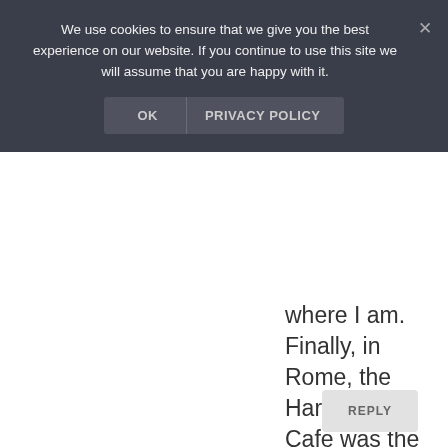We use cookies to ensure that we give you the best experience on our website. If you continue to use this site we will assume that you are happy with it.
where I am. Finally, in Rome, the Hard Rock Cafe was the only restaurant that was open past 11pm, which was the time we had arrived there and were starving!!!!
REPLY